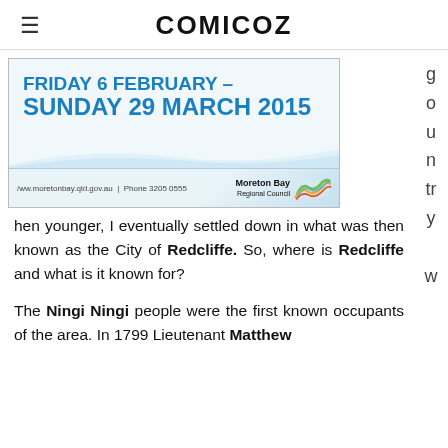COMICOZ
[Figure (illustration): Advertisement for an event at Moreton Bay Regional Council. Blue bold text reads 'FRIDAY 6 FEBRUARY – SUNDAY 29 MARCH 2015'. Footer shows website www.moretonbay.qld.gov.au, Phone 3205 0555, and Moreton Bay Regional Council logo with colourful wave graphic.]
g o u n tr y w hen younger, I eventually settled down in what was then known as the City of Redcliffe. So, where is Redcliffe and what is it known for?
The Ningi Ningi people were the first known occupants of the area. In 1799 Lieutenant Matthew